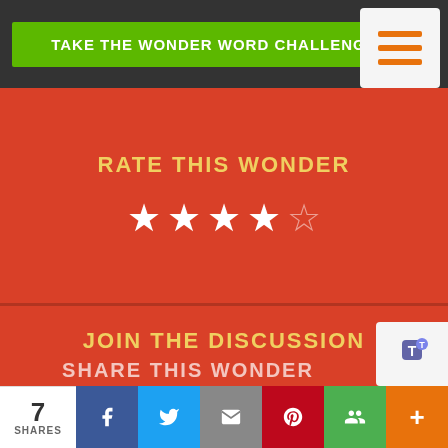[Figure (screenshot): Green button with white text reading TAKE THE WONDER WORD CHALLENGE, on dark gray bar with hamburger menu icon (3 orange lines) in top right]
RATE THIS WONDER
[Figure (other): 4 filled white stars and 1 empty star rating]
JOIN THE DISCUSSION
12 Comments
SHARE THIS WONDER
7 SHARES
[Figure (screenshot): Social share buttons: Facebook, Twitter, Email, Pinterest, Google+, More]